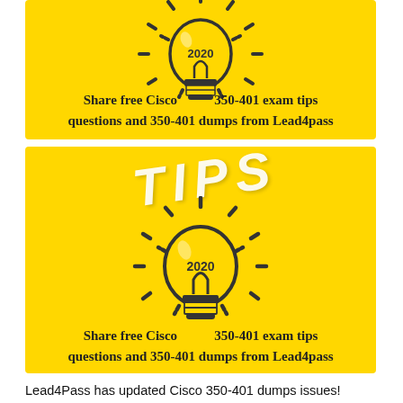[Figure (illustration): Yellow banner with a lightbulb icon showing '2020' and text: Share free Cisco 350-401 exam tips questions and 350-401 dumps from Lead4pass]
[Figure (illustration): Yellow banner with large TIPS text and a lightbulb icon showing '2020' and text: Share free Cisco 350-401 exam tips questions and 350-401 dumps from Lead4pass]
Lead4Pass has updated Cisco 350-401 dumps issues! The latest 350-401 exam questions can help you pass the exam with high scores.